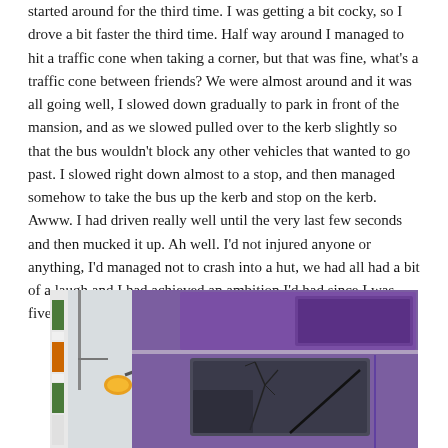started around for the third time. I was getting a bit cocky, so I drove a bit faster the third time. Half way around I managed to hit a traffic cone when taking a corner, but that was fine, what's a traffic cone between friends? We were almost around and it was all going well, I slowed down gradually to park in front of the mansion, and as we slowed pulled over to the kerb slightly so that the bus wouldn't block any other vehicles that wanted to go past. I slowed right down almost to a stop, and then managed somehow to take the bus up the kerb and stop on the kerb. Awww. I had driven really well until the very last few seconds and then mucked it up. Ah well. I'd not injured anyone or anything, I'd managed not to crash into a hut, we had all had a bit of a laugh and I had achieved an ambition I'd had since I was five years old.
[Figure (photo): Close-up photograph of the side of a purple double-decker bus, showing the front cab area with a windscreen wiper, orange indicator light, side mirror, and part of a colorful sign/flag on the left edge. A bare tree is reflected in the window.]